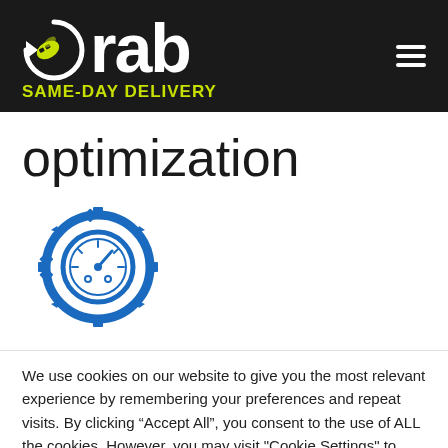[Figure (logo): Grab Same-Day Delivery logo with bee icon on black background header]
optimization
[Figure (illustration): Blue gear/speedometer optimization icon]
We use cookies on our website to give you the most relevant experience by remembering your preferences and repeat visits. By clicking “Accept All”, you consent to the use of ALL the cookies. However, you may visit "Cookie Settings" to provide a controlled consent.
Cookie Settings | Accept All